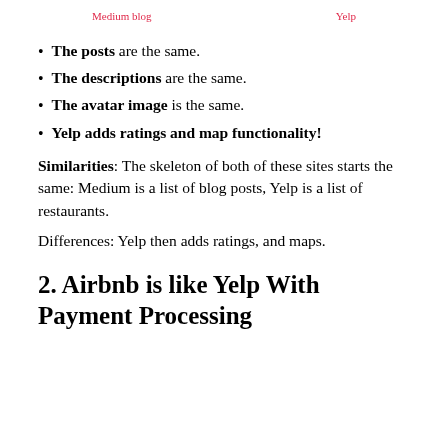Medium blog    Yelp
The posts are the same.
The descriptions are the same.
The avatar image is the same.
Yelp adds ratings and map functionality!
Similarities: The skeleton of both of these sites starts the same: Medium is a list of blog posts, Yelp is a list of restaurants.
Differences: Yelp then adds ratings, and maps.
2. Airbnb is like Yelp With Payment Processing